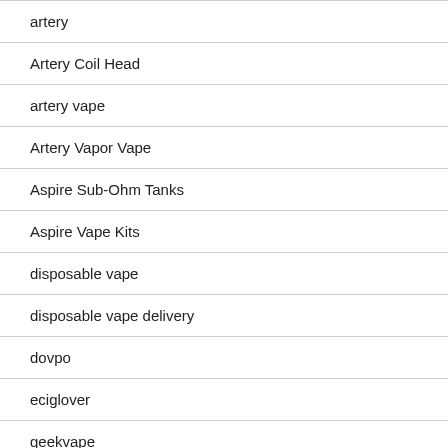artery
Artery Coil Head
artery vape
Artery Vapor Vape
Aspire Sub-Ohm Tanks
Aspire Vape Kits
disposable vape
disposable vape delivery
dovpo
eciglover
geekvape